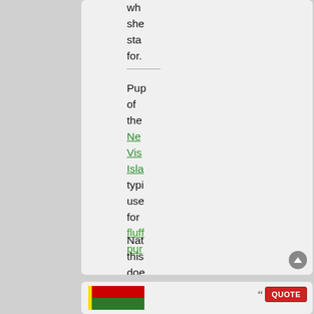wh she sta for.
Pup of the New Visi Isla typi used for fluffy pur
Nat this doe not rep my actu beli
[Figure (infographic): Bottom card with flag and QUOTE button]